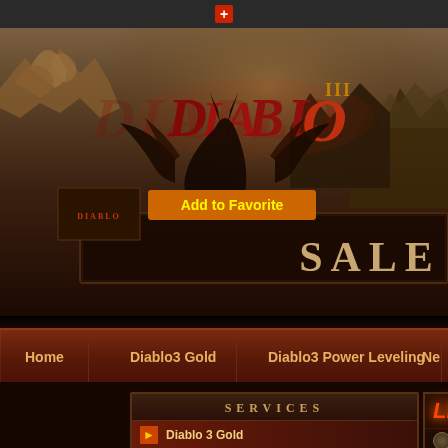[Figure (screenshot): Browser top bar with plus/new tab button]
[Figure (screenshot): Diablo 3 website hero banner with Diablo III logo, creature/wing silhouette, rocky background, small Diablo icon top-left, 'Add to Favorite' orange tooltip, and SALE text on the right]
Add to Favorite
SALE
Home
Diablo3 Gold
Diablo3 Power Leveling
Ne
SERVICES
Diablo 3 Gold
US D3 Gold
LIVE CH
Home > Diablo 3